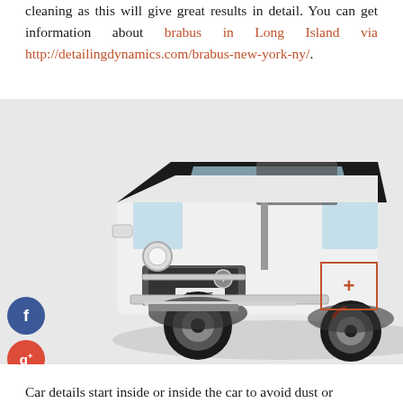cleaning as this will give great results in detail. You can get information about brabus in Long Island via http://detailingdynamics.com/brabus-new-york-ny/.
[Figure (photo): White Brabus-branded Mercedes-Benz G-Class SUV (G-Wagon) with black soft-top convertible roof, lifted suspension, large off-road tires with red brake calipers, chrome multi-spoke wheels, photographed on a grey studio floor with white background. Social media icons (Facebook, Google+, Twitter, and a plus/share button) are overlaid on the left side.]
Car details start inside or inside the car to avoid dust or